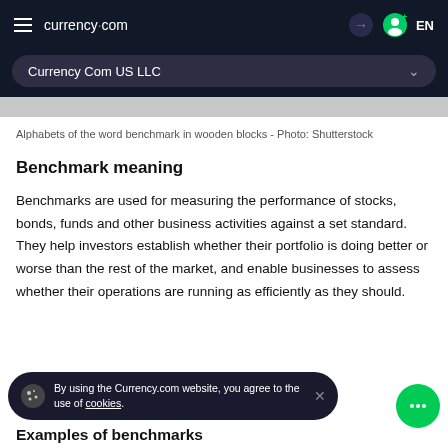currency.com  EN
Currency Com US LLC
[Figure (photo): Partial view of image showing wooden blocks with alphabets spelling benchmark, with Currency Com US LLC dropdown overlay]
Alphabets of the word benchmark in wooden blocks - Photo: Shutterstock
Benchmark meaning
Benchmarks are used for measuring the performance of stocks, bonds, funds and other business activities against a set standard. They help investors establish whether their portfolio is doing better or worse than the rest of the market, and enable businesses to assess whether their operations are running as efficiently as they should.
Examples of benchmarks